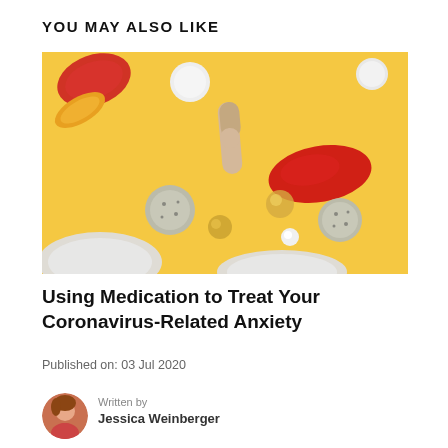YOU MAY ALSO LIKE
[Figure (photo): Overhead view of various pills, capsules, and gel supplements scattered on a yellow background. Includes white round pills, a beige/cream capsule, a red gel capsule, small round tablets, and gold/transparent gel beads.]
Using Medication to Treat Your Coronavirus-Related Anxiety
Published on: 03 Jul 2020
Written by
Jessica Weinberger